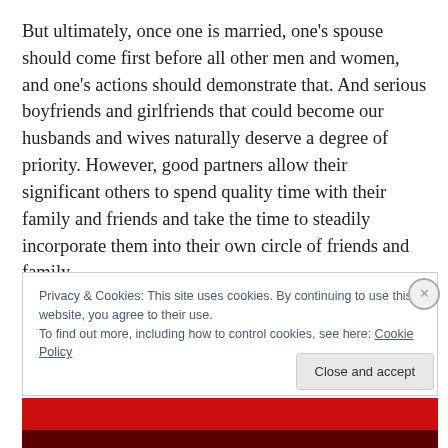But ultimately, once one is married, one's spouse should come first before all other men and women, and one's actions should demonstrate that. And serious boyfriends and girlfriends that could become our husbands and wives naturally deserve a degree of priority. However, good partners allow their significant others to spend quality time with their family and friends and take the time to steadily incorporate them into their own circle of friends and family.
Privacy & Cookies: This site uses cookies. By continuing to use this website, you agree to their use.
To find out more, including how to control cookies, see here: Cookie Policy
Close and accept